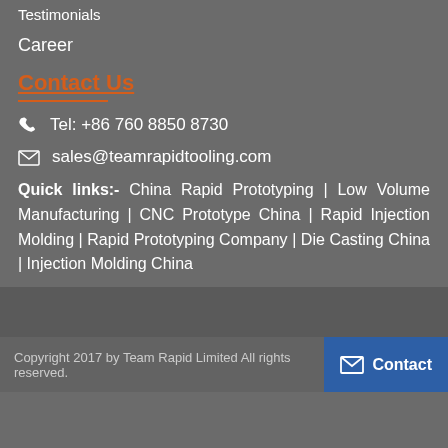Testimonials
Career
Contact Us
Tel: +86 760 8850 8730
sales@teamrapidtooling.com
Quick links:- China Rapid Prototyping | Low Volume Manufacturing | CNC Prototype China | Rapid Injection Molding | Rapid Prototyping Company | Die Casting China | Injection Molding China
Copyright 2017 by Team Rapid Limited All rights reserved.